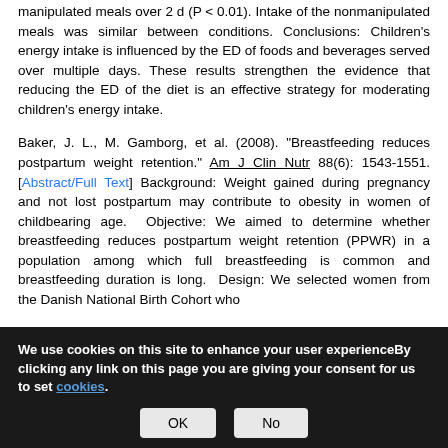manipulated meals over 2 d (P < 0.01). Intake of the nonmanipulated meals was similar between conditions. Conclusions: Children's energy intake is influenced by the ED of foods and beverages served over multiple days. These results strengthen the evidence that reducing the ED of the diet is an effective strategy for moderating children's energy intake.
Baker, J. L., M. Gamborg, et al. (2008). "Breastfeeding reduces postpartum weight retention." Am J Clin Nutr 88(6): 1543-1551. [Abstract/Full Text] Background: Weight gained during pregnancy and not lost postpartum may contribute to obesity in women of childbearing age. Objective: We aimed to determine whether breastfeeding reduces postpartum weight retention (PPWR) in a population among which full breastfeeding is common and breastfeeding duration is long. Design: We selected women from the Danish National Birth Cohort who
We use cookies on this site to enhance your user experienceBy clicking any link on this page you are giving your consent for us to set cookies.